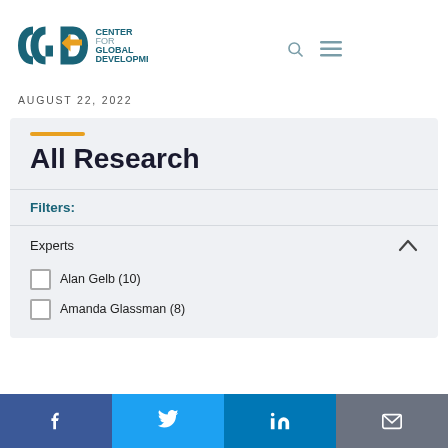[Figure (logo): Center for Global Development (CGD) logo with teal letters and orange arrow, with text CENTER FOR GLOBAL DEVELOPMENT]
AUGUST 22, 2022
All Research
Filters:
Experts
Alan Gelb (10)
Amanda Glassman (8)
Facebook | Twitter | LinkedIn | Email